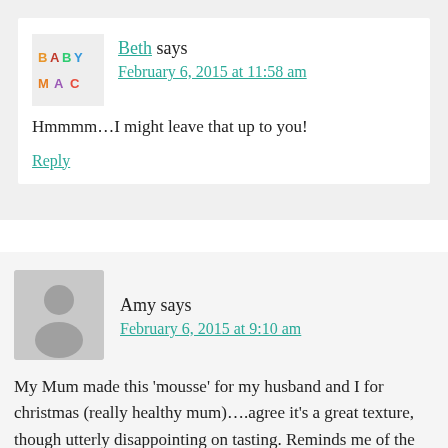Beth says
February 6, 2015 at 11:58 am
Hmmmm…I might leave that up to you!
Reply
Amy says
February 6, 2015 at 9:10 am
My Mum made this 'mousse' for my husband and I for christmas (really healthy mum)….agree it's a great texture, though utterly disappointing on tasting. Reminds me of the time I was given 'thick cream' on top of a warmed apple pie, that actually turned out to be greek yogurt (mum again!), what a rude shock…..I